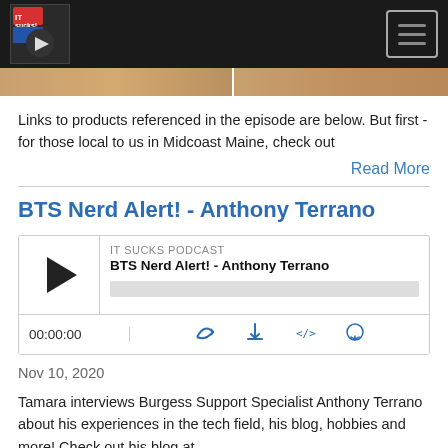IT Sucks Podcast
[Figure (photo): Two thumbnail images from a podcast episode, brownish tones]
Links to products referenced in the episode are below. But first - for those local to us in Midcoast Maine, check out
Read More
BTS Nerd Alert! - Anthony Terrano
[Figure (other): Podcast audio player widget showing IT SUCKS PODCAST, BTS Nerd Alert! - Anthony Terrano, play button, progress bar, time display 00:00:00, and control icons]
Nov 10, 2020
Tamara interviews Burgess Support Specialist Anthony Terrano about his experiences in the tech field, his blog, hobbies and more! Check out his blog at